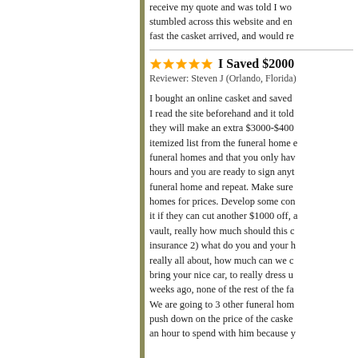receive my quote and was told I wo... stumbled across this website and en... fast the casket arrived, and would re...
I Saved $2000
Reviewer: Steven J (Orlando, Florida)
I bought an online casket and saved... I read the site beforehand and it told... they will make an extra $3000-$400... itemized list from the funeral home e... funeral homes and that you only hav... hours and you are ready to sign anyt... funeral home and repeat. Make sure... homes for prices. Develop some con... it if they can cut another $1000 off, a... vault, really how much should this c... insurance 2) what do you and your h... really all about, how much can we c... bring your nice car, to really dress u... weeks ago, none of the rest of the fa... We are going to 3 other funeral hom... push down on the price of the caske... an hour to spend with him because y...